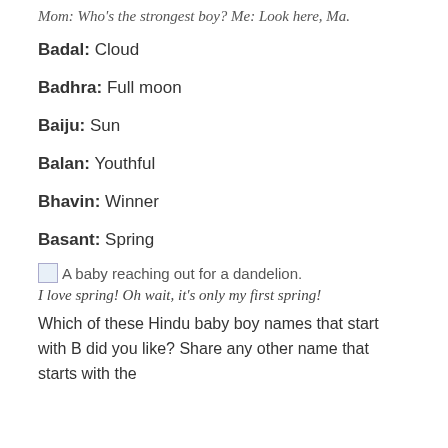Mom: Who's the strongest boy? Me: Look here, Ma.
Badal: Cloud
Badhra: Full moon
Baiju: Sun
Balan: Youthful
Bhavin: Winner
Basant: Spring
[Figure (photo): A baby reaching out for a dandelion.]
I love spring! Oh wait, it's only my first spring!
Which of these Hindu baby boy names that start with B did you like? Share any other name that starts with the